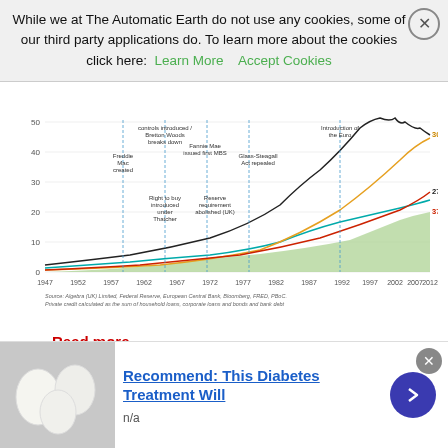While we at The Automatic Earth do not use any cookies, some of our third party applications do. To learn more about the cookies click here: Learn More  Accept Cookies
[Figure (line-chart): Multi-line chart showing debt as % of GDP from 1947 to 2012 with annotations for key financial events. Lines show values of 304% GDP, 274% GDP, and 377% GDP at end.]
Read more …
Very good from Chris Hamilton.
• The Fed Destroyed Functioning American Democracy and
[Figure (infographic): Advertisement banner: image of white eggs on left, text 'Recommend: This Diabetes Treatment Will', subtext 'n/a', blue arrow button on right, close X button.]